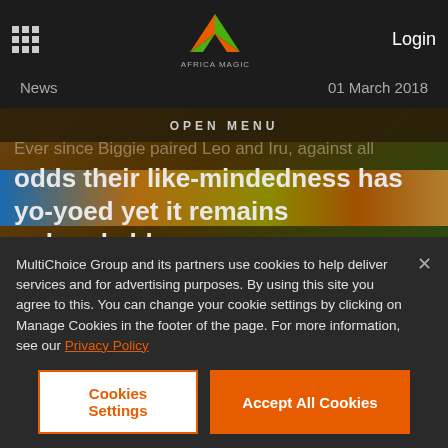Day 32: The Lifu Cue
[Figure (screenshot): Africa Magic logo with orange and green M shape, text AFRICA MAGIC below]
News | Login | 01 March 2018
OPEN MENU
Ever since Biggie paired Leo and Iru, against all odds their like-mindedness has yo-yoed yet it remains unbreakable.
[Figure (infographic): Share icon — red circle with connected dots share symbol]
MultiChoice Group and its partners use cookies to help deliver services and for advertising purposes. By using this site you agree to this. You can change your cookie settings by clicking on Manage Cookies in the footer of the page. For more information, see our Privacy Policy
Cookies Settings
Accept All Cookies